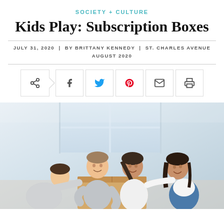SOCIETY + CULTURE
Kids Play: Subscription Boxes
JULY 31, 2020 | BY BRITTANY KENNEDY | ST. CHARLES AVENUE AUGUST 2020
[Figure (other): Social sharing buttons: share, facebook, twitter, pinterest, email, print]
[Figure (photo): A family of four — man, woman, young boy, and young girl — smiling and opening a cardboard subscription box together in a bright room.]